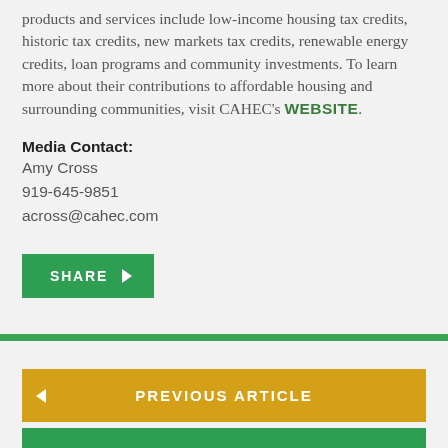products and services include low-income housing tax credits, historic tax credits, new markets tax credits, renewable energy credits, loan programs and community investments. To learn more about their contributions to affordable housing and surrounding communities, visit CAHEC's WEBSITE.
Media Contact:
Amy Cross
919-645-9851
across@cahec.com
[Figure (other): Green SHARE button with right-pointing arrow]
[Figure (other): Gold PREVIOUS ARTICLE navigation button with left-pointing arrow]
[Figure (other): Green NEXT ARTICLE navigation button with right-pointing arrow (partially visible)]